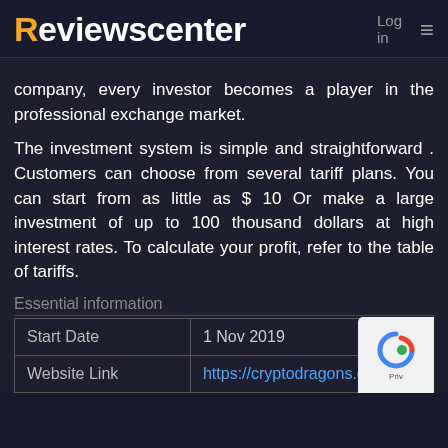Reviewscenter  Log in  ≡
company, every investor becomes a player in the professional exchange market.
The investment system is simple and straightforward . Customers can choose from several tariff plans. You can start from as little as $ 10 Or make a large investment of up to 100 thousand dollars at high interest rates. To calculate your profit, refer to the table of tariffs.
Essential information
| Start Date | 1 Nov 2019 |
| Website Link | https://cryptodragons.cl |